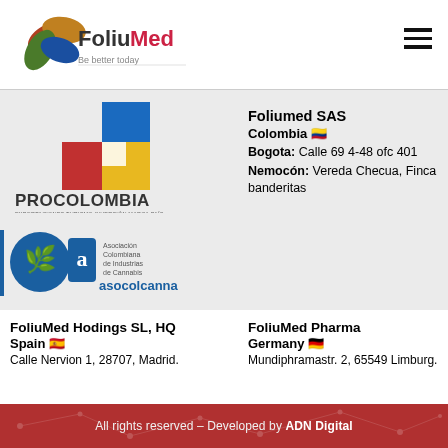[Figure (logo): FoliuMed logo with colorful overlapping leaf/circle shapes and text 'FoliuMed – Be better today']
[Figure (logo): ProColombia logo - geometric colored square and 'PROCOLOMBIA Exportaciones Turismo Inversion Marca Pais']
[Figure (logo): Asocolcanna logo - cannabis leaf icon with text 'Asociación Colombiana de Industrias de Cannabis asocolcanna']
Foliumed SAS
Colombia 🇨🇴
Bogota: Calle 69 4-48 ofc 401
Nemocón: Vereda Checua, Finca banderitas
FoliuMed Hodings SL, HQ
Spain 🇪🇸
Calle Nervion 1, 28707, Madrid.
FoliuMed Pharma
Germany 🇩🇪
Mundiphramastr. 2, 65549 Limburg.
All rights reserved – Developed by ADN Digital